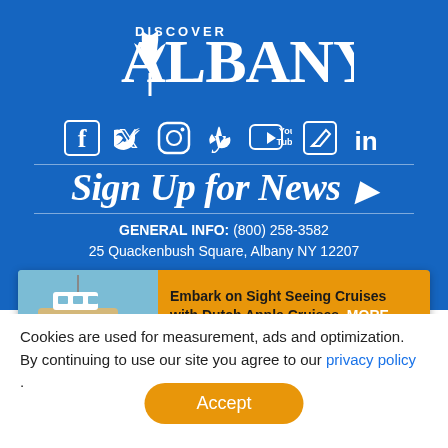[Figure (logo): Discover Albany logo in white on blue background]
[Figure (infographic): Social media icons: Facebook, Twitter, Instagram, Yelp, YouTube, Blog/Edit, LinkedIn]
Sign Up for News ▶
GENERAL INFO: (800) 258-3582
25 Quackenbush Square, Albany NY 12207
[Figure (photo): Banner showing boat on water with text: Embark on Sight Seeing Cruises with Dutch Apple Cruises. MORE]
Cookies are used for measurement, ads and optimization. By continuing to use our site you agree to our privacy policy
.
Accept